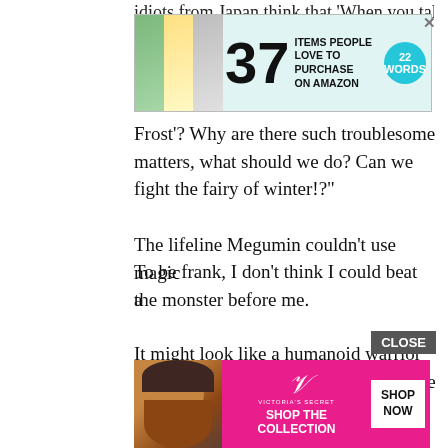idiots from Japan think that 'When you talk
[Figure (screenshot): Advertisement banner: '37 ITEMS PEOPLE LOVE TO PURCHASE ON AMAZON' with teal background and circular '22 WORDS' badge]
Frost'? Why are there such troublesome matters, what should we do? Can we fight the fairy of winter!?"
To be frank, I don't think I could beat the monster before me.
It might look like a humanoid warrior in armor at first glance, but if that is the manifestation of a fairy, my sword won't be effective at all.
The lifeline Megumin couldn't use magic a
[Figure (screenshot): Victoria's Secret advertisement banner with pink background, woman photo, VS logo, 'SHOP THE COLLECTION' text, and 'SHOP NOW' button. CLOSE button overlay.]